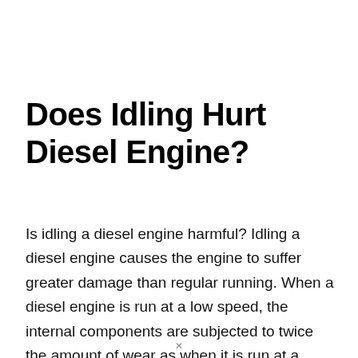Does Idling Hurt Diesel Engine?
Is idling a diesel engine harmful? Idling a diesel engine causes the engine to suffer greater damage than regular running. When a diesel engine is run at a low speed, the internal components are subjected to twice the amount of wear as when it is run at a typical load. This will result in higher maintenance